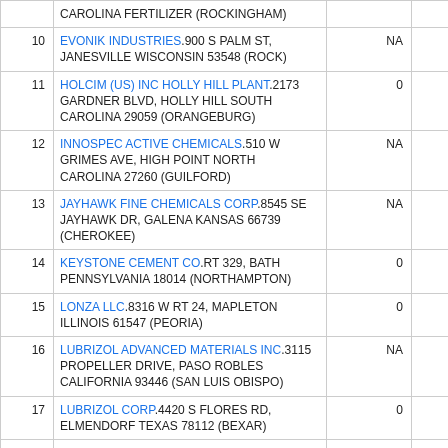| # | Facility | Col1 | Col2 |
| --- | --- | --- | --- |
|  | CAROLINA FERTILIZER (ROCKINGHAM) |  |  |
| 10 | EVONIK INDUSTRIES.900 S PALM ST, JANESVILLE WISCONSIN 53548 (ROCK) | NA | NA |
| 11 | HOLCIM (US) INC HOLLY HILL PLANT.2173 GARDNER BLVD, HOLLY HILL SOUTH CAROLINA 29059 (ORANGEBURG) | 0 | 0 |
| 12 | INNOSPEC ACTIVE CHEMICALS.510 W GRIMES AVE, HIGH POINT NORTH CAROLINA 27260 (GUILFORD) | NA | NA |
| 13 | JAYHAWK FINE CHEMICALS CORP.8545 SE JAYHAWK DR, GALENA KANSAS 66739 (CHEROKEE) | NA | NA |
| 14 | KEYSTONE CEMENT CO.RT 329, BATH PENNSYLVANIA 18014 (NORTHAMPTON) | 0 | 0 |
| 15 | LONZA LLC.8316 W RT 24, MAPLETON ILLINOIS 61547 (PEORIA) | 0 | 0 |
| 16 | LUBRIZOL ADVANCED MATERIALS INC.3115 PROPELLER DRIVE, PASO ROBLES CALIFORNIA 93446 (SAN LUIS OBISPO) | NA | NA |
| 17 | LUBRIZOL CORP.4420 S FLORES RD, ELMENDORF TEXAS 78112 (BEXAR) | 0 | 0 |
| 18 | NALCO CO.3599 HIGHWAY 44, | 0 | 0 |